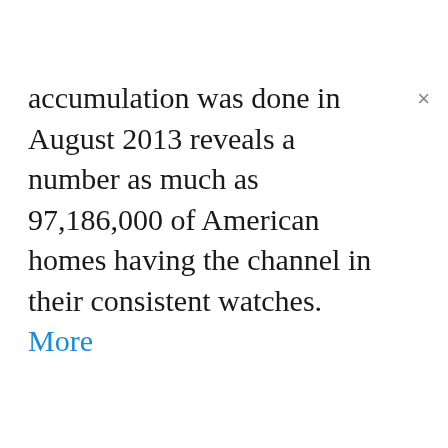accumulation was done in August 2013 reveals a number as much as 97,186,000 of American homes having the channel in their consistent watches. More